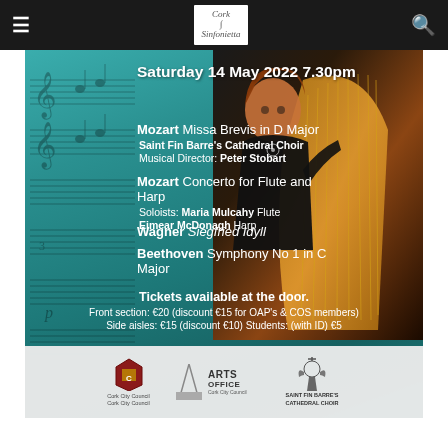Cork Sinfonietta navigation bar
[Figure (photo): Concert poster for Cork Sinfonietta with teal/green background, sheet music overlay on left, and harpist musician photo on right]
Saturday 14 May 2022 7.30pm
Mozart Missa Brevis in D Major
Saint Fin Barre's Cathedral Choir
Musical Director: Peter Stobart
Mozart Concerto for Flute and Harp
Soloists: Maria Mulcahy Flute
Eimear McDonagh Harp
Wagner Siegfried Idyll
Beethoven Symphony No 1 in C Major
Tickets available at the door.
Front section: €20 (discount €15 for OAP's & COS members)
Side aisles: €15 (discount €10) Students: (with ID) €5